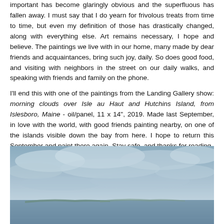important has become glaringly obvious and the superfluous has fallen away. I must say that I do yearn for frivolous treats from time to time, but even my definition of those has drastically changed, along with everything else. Art remains necessary, I hope and believe. The paintings we live with in our home, many made by dear friends and acquaintances, bring such joy, daily. So does good food, and visiting with neighbors in the street on our daily walks, and speaking with friends and family on the phone.

I'll end this with one of the paintings from the Landing Gallery show: morning clouds over Isle au Haut and Hutchins Island, from Islesboro, Maine - oil/panel, 11 x 14", 2019. Made last September, in love with the world, with good friends painting nearby, on one of the islands visible down the bay from here. I hope to return this September and paint there again. Stay safe, and thanks for reading.
[Figure (photo): A landscape painting showing morning clouds over Isle au Haut and Hutchins Island from Islesboro, Maine. Oil on panel, 11x14 inches, 2019. Sky with soft blue-grey clouds over a calm water scene with distant islands on the horizon.]